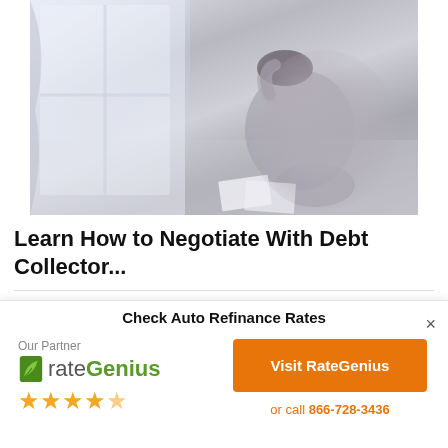[Figure (photo): A person sitting on the floor, hunched over with head in hands, appearing stressed, with papers scattered around. Background shows a window with light coming through.]
Learn How to Negotiate With Debt Collector...
Check Auto Refinance Rates
[Figure (logo): rateGenius logo with green leaf icon and five gold stars rating]
Our Partner
Visit RateGenius
or call 866-728-3436